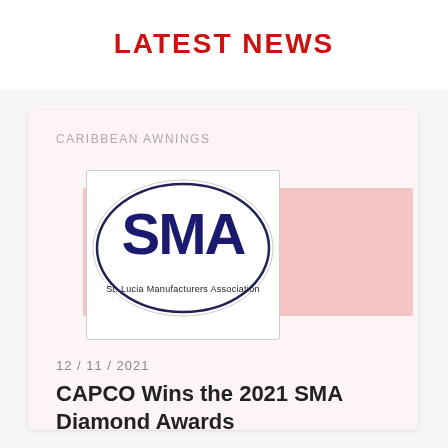LATEST NEWS
CARIBBEAN AWNINGS
[Figure (logo): SMA - St. Lucia Manufacturers Association logo, dark blue letters on white oval background with text 'St. Lucia Manufacturers Association' below]
12 / 11 / 2021
CAPCO Wins the 2021 SMA Diamond Awards